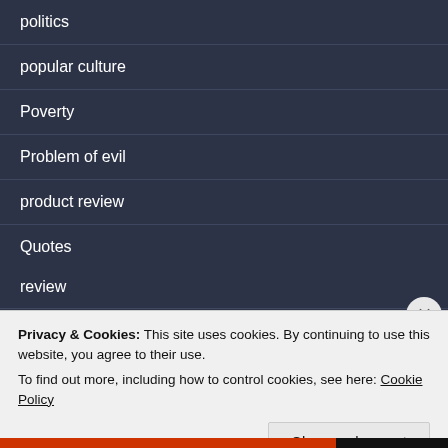politics
popular culture
Poverty
Problem of evil
product review
Quotes
real estate
Religion
review
Privacy & Cookies: This site uses cookies. By continuing to use this website, you agree to their use.
To find out more, including how to control cookies, see here: Cookie Policy
Close and accept